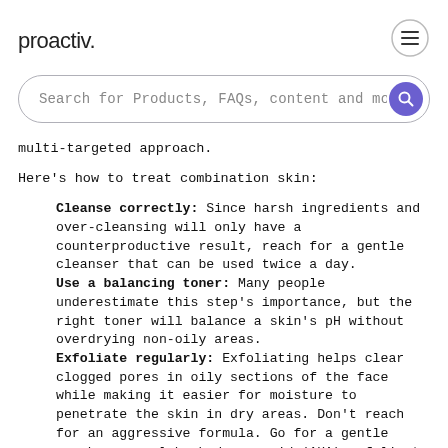proactiv.
Search for Products, FAQs, content and mo
multi-targeted approach.
Here's how to treat combination skin:
Cleanse correctly: Since harsh ingredients and over-cleansing will only have a counterproductive result, reach for a gentle cleanser that can be used twice a day.
Use a balancing toner: Many people underestimate this step's importance, but the right toner will balance a skin's pH without overdrying non-oily areas.
Exfoliate regularly: Exfoliating helps clear clogged pores in oily sections of the face while making it easier for moisture to penetrate the skin in dry areas. Don't reach for an aggressive formula. Go for a gentle scrub or an alpha hydroxy acid (AHA) exfoliant like glycolic acid or lactic acid that dissolves dead skin cells instead of sweeping them away — especially if you're experiencing breakouts.
Moisturize correctly: Both oily and dry skin need hydration,